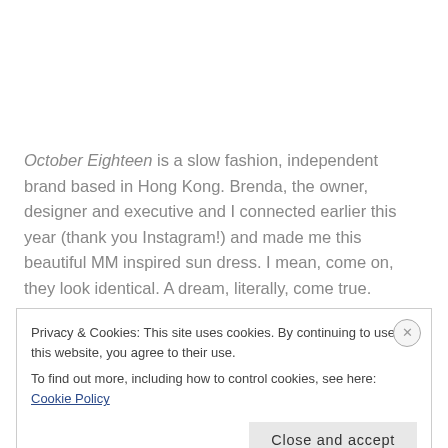October Eighteen is a slow fashion, independent brand based in Hong Kong. Brenda, the owner, designer and executive and I connected earlier this year (thank you Instagram!) and made me this beautiful MM inspired sun dress. I mean, come on, they look identical. A dream, literally, come true.
Privacy & Cookies: This site uses cookies. By continuing to use this website, you agree to their use.
To find out more, including how to control cookies, see here: Cookie Policy